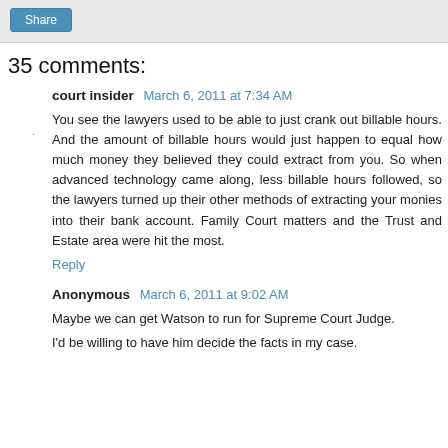Share
35 comments:
court insider  March 6, 2011 at 7:34 AM
You see the lawyers used to be able to just crank out billable hours. And the amount of billable hours would just happen to equal how much money they believed they could extract from you. So when advanced technology came along, less billable hours followed, so the lawyers turned up their other methods of extracting your monies into their bank account. Family Court matters and the Trust and Estate area were hit the most.
Reply
Anonymous  March 6, 2011 at 9:02 AM
Maybe we can get Watson to run for Supreme Court Judge.

I'd be willing to have him decide the facts in my case.